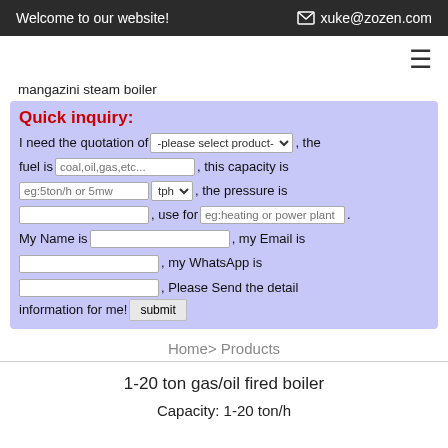Welcome to our website!   xuke@zozen.com
mangazini steam boiler
Quick inquiry: I need the quotation of -please select product-, the fuel is coal,oil,gas,etc..., this capacity is eg:5ton/h or 5mw tph, the pressure is , use for eg:heating or power plant. My Name is , my Email is , my WhatsApp is , Please Send the detail information for me! submit
Home> Products
1-20 ton gas/oil fired boiler
Capacity: 1-20 ton/h